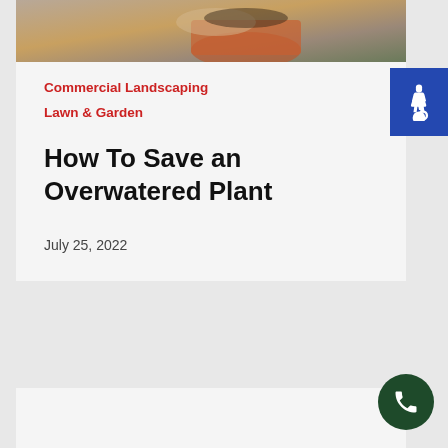[Figure (photo): Person's hands potting or tending a plant in a terracotta pot with soil]
Commercial Landscaping
Lawn & Garden
How To Save an Overwatered Plant
July 25, 2022
[Figure (other): Accessibility icon button (blue background with wheelchair symbol)]
[Figure (other): Phone call button (dark green circle with telephone icon)]